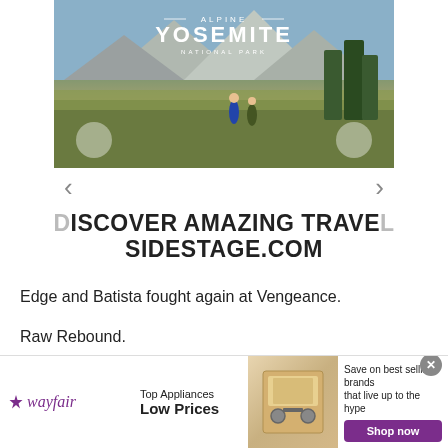[Figure (photo): Travel advertisement showing Yosemite National Park alpine scene with mountains and hikers, with navigation arrows and text overlay reading ALPINE YOSEMITE NATIONAL PARK]
DISCOVER AMAZING TRAVEL SIDESTAGE.COM
Edge and Batista fought again at Vengeance.
Raw Rebound.
Smackdown World Title: Batista vs. Edge
[Figure (infographic): Wayfair advertisement banner: Top Appliances Low Prices, Save on best selling brands that live up to the hype, Shop now button]